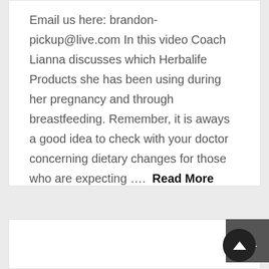Email us here: brandon-pickup@live.com In this video Coach Lianna discusses which Herbalife Products she has been using during her pregnancy and through breastfeeding. Remember, it is aways a good idea to check with your doctor concerning dietary changes for those who are expecting ….  Read More
[Figure (other): Bottom card/panel (white box) partially visible at bottom of page, with a dark grey scroll-to-top square button in the top-right corner and a dark circular scroll-to-top button in the lower-right corner, both containing upward-pointing chevron/arrow icons.]